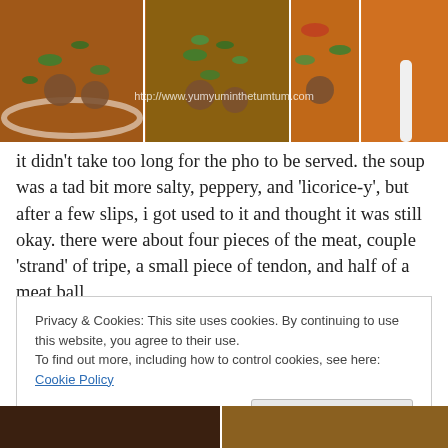[Figure (photo): Collage of four close-up photos of pho soup bowls with meatballs, green herbs, sliced jalapeños, and broth. A watermark reads: http://www.yumyuminthetumtum.com]
it didn't take too long for the pho to be served. the soup was a tad bit more salty, peppery, and 'licorice-y', but after a few slips, i got used to it and thought it was still okay. there were about four pieces of the meat, couple 'strand' of tripe, a small piece of tendon, and half of a meat ball
Privacy & Cookies: This site uses cookies. By continuing to use this website, you agree to their use.
To find out more, including how to control cookies, see here: Cookie Policy
[Figure (photo): Partial view of two restaurant interior photos at the bottom of the page]